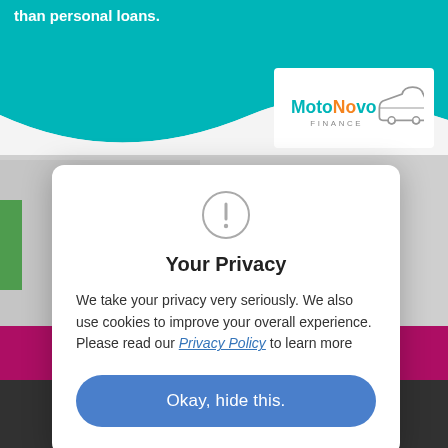than personal loans.
[Figure (logo): MotoNovo Finance logo with car/van icon in gray outline, 'MotoNovo' text in teal and orange, 'FINANCE' in gray below]
0 TDCI 130 /B LOW
al   Diesel
PER MONTH £397.61
fee.
Your Privacy
We take your privacy very seriously. We also use cookies to improve your overall experience. Please read our Privacy Policy to learn more
Okay, hide this.
TAILOR MY FINANCE
[Figure (screenshot): Phone icon (call) and chat bubble icon in white on dark gray bottom navigation bar]